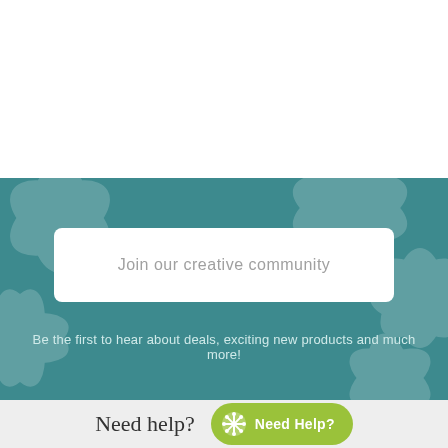[Figure (illustration): Teal/green background section with decorative floral/leaf pattern overlay, containing a white rounded rectangle input box labeled 'Join our creative community' and a tagline below it.]
Join our creative community
Be the first to hear about deals, exciting new products and much more!
Need help?
Need Help?